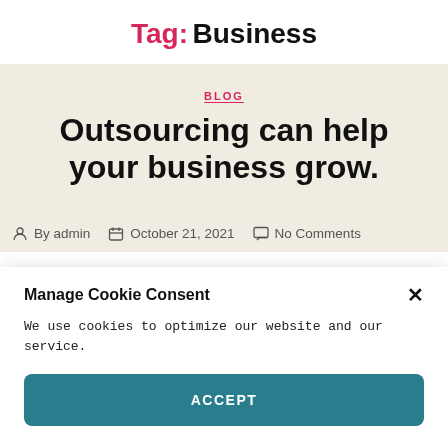Tag: Business
BLOG
Outsourcing can help your business grow.
By admin   October 21, 2021   No Comments
Manage Cookie Consent
We use cookies to optimize our website and our service.
ACCEPT